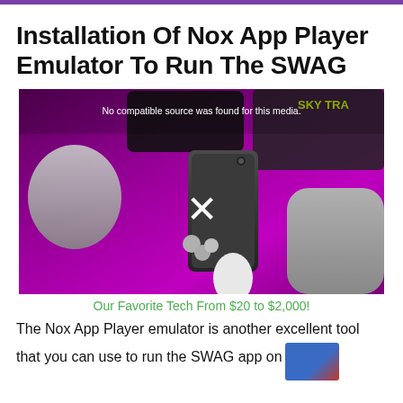Installation Of Nox App Player Emulator To Run The SWAG
[Figure (photo): Photo of various tech gadgets including smartphones, earbuds, and a smart speaker arranged on a purple/magenta surface. A media player overlay shows 'No compatible source was found for this media.' with an X button.]
Our Favorite Tech From $20 to $2,000!
The Nox App Player emulator is another excellent tool that you can use to run the SWAG app on